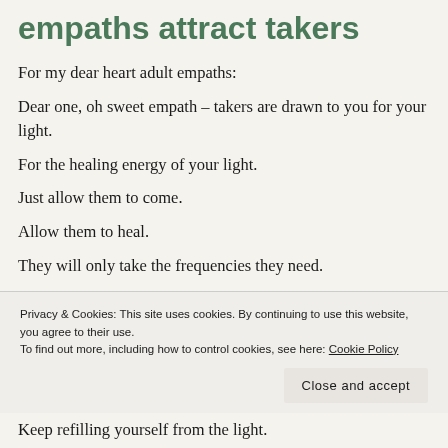empaths attract takers
For my dear heart adult empaths:
Dear one, oh sweet empath – takers are drawn to you for your light.
For the healing energy of your light.
Just allow them to come.
Allow them to heal.
They will only take the frequencies they need.
Privacy & Cookies: This site uses cookies. By continuing to use this website, you agree to their use. To find out more, including how to control cookies, see here: Cookie Policy
Keep refilling yourself from the light.